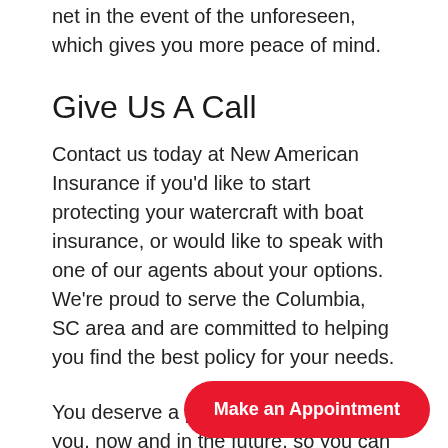net in the event of the unforeseen, which gives you more peace of mind.
Give Us A Call
Contact us today at New American Insurance if you'd like to start protecting your watercraft with boat insurance, or would like to speak with one of our agents about your options. We're proud to serve the Columbia, SC area and are committed to helping you find the best policy for your needs.
You deserve a policy that will protect you, now and in the future, so you can relax and enjoy your life. Insurance can seem like a headache to navigate, [we help] you make sense of it all and find the policy
[Figure (other): Red rounded rectangle button with white bold text reading 'Make an Appointment']